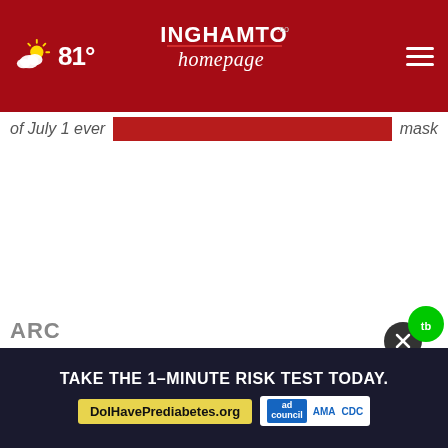[Figure (screenshot): Binghamton Homepage website header: dark red navigation bar with weather icon showing partly cloudy at 81°, centered Binghamton Homepage logo in metallic/red text, hamburger menu icon on right]
of July 1 ever... mask
[Figure (screenshot): Advertisement banner: dark navy background with white bold text 'TAKE THE 1-MINUTE RISK TEST TODAY.' and yellow pill button 'DoIHavePrediabetes.org' with logos for ad council, AMA, and CDC]
ARC